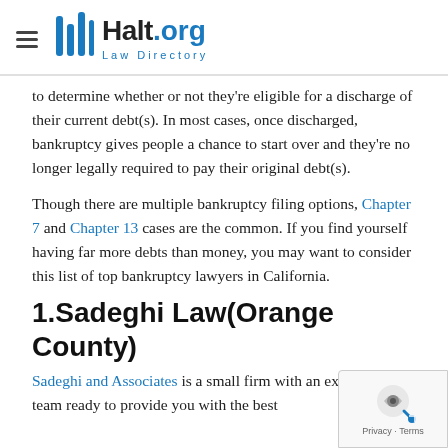Halt.org Law Directory
to determine whether or not they're eligible for a discharge of their current debt(s). In most cases, once discharged, bankruptcy gives people a chance to start over and they're no longer legally required to pay their original debt(s).
Though there are multiple bankruptcy filing options, Chapter 7 and Chapter 13 cases are the common. If you find yourself having far more debts than money, you may want to consider this list of top bankruptcy lawyers in California.
1.Sadeghi Law(Orange County)
Sadeghi and Associates is a small firm with an experienced team ready to provide you with the best